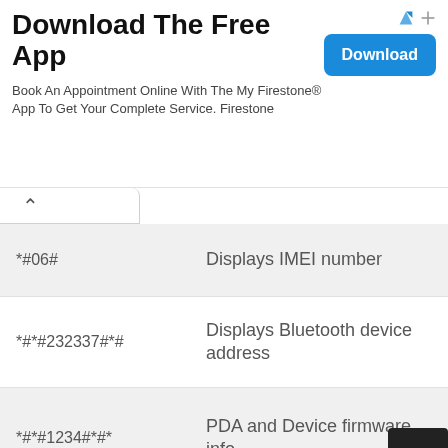[Figure (screenshot): Advertisement banner for Firestone app download with title, body text, and Download button]
| Code | Description |
| --- | --- |
| *#06# | Displays IMEI number |
| *#*#232337#*# | Displays Bluetooth device address |
| *#*#1234#*#* | PDA and Device firmware info |
| *#*#1111#*#* | FTA Software version |